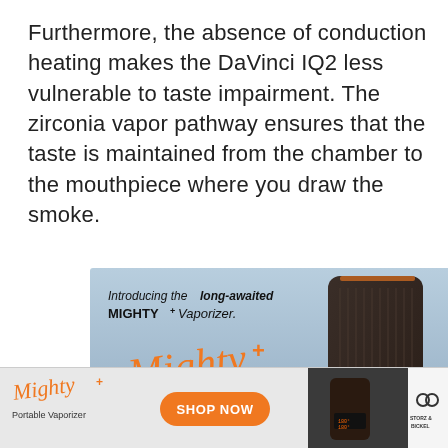Furthermore, the absence of conduction heating makes the DaVinci IQ2 less vulnerable to taste impairment. The zirconia vapor pathway ensures that the taste is maintained from the chamber to the mouthpiece where you draw the smoke.
[Figure (photo): Advertisement for Mighty+ Vaporizer by Storz & Bickel. Shows a dark vaporizer device against an outdoor background with orange cursive 'Mighty+' logo and text 'Introducing the long-awaited MIGHTY+ Vaporizer.']
[Figure (infographic): Bottom banner ad for Mighty+ Portable Vaporizer by Storz & Bickel with orange 'SHOP NOW' button, orange cursive logo on left, device photo on right, and Storz & Bickel logo.]